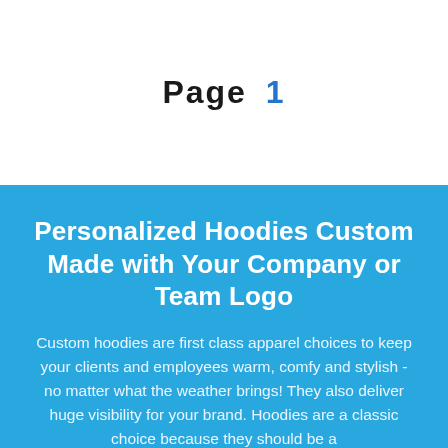Page 1
Personalized Hoodies Custom Made with Your Company or Team Logo
Custom hoodies are first class apparel choices to keep your clients and employees warm, comfy and stylish - no matter what the weather brings! They also deliver huge visibility for your brand. Hoodies are a classic choice because they should be a